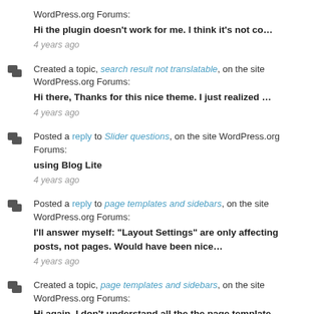WordPress.org Forums:
Hi the plugin doesn't work for me. I think it's not co...
4 years ago
Created a topic, search result not translatable, on the site WordPress.org Forums:
Hi there, Thanks for this nice theme. I just realized ...
4 years ago
Posted a reply to Slider questions, on the site WordPress.org Forums:
using Blog Lite
4 years ago
Posted a reply to page templates and sidebars, on the site WordPress.org Forums:
I'll answer myself: "Layout Settings" are only affecting posts, not pages. Would have been nice...
4 years ago
Created a topic, page templates and sidebars, on the site WordPress.org Forums:
Hi again, I don't understand all the the page template...
4 years ago